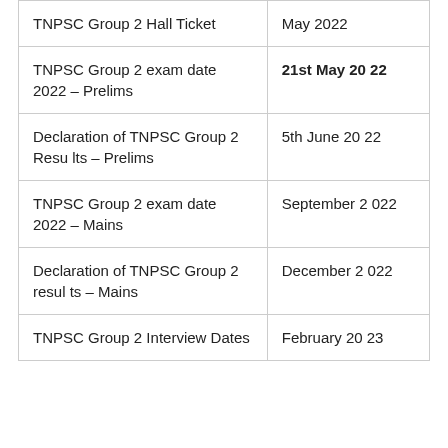| TNPSC Group 2 Hall Ticket | May 2022 |
| TNPSC Group 2 exam date 2022 – Prelims | 21st May 2022 |
| Declaration of TNPSC Group 2 Results – Prelims | 5th June 2022 |
| TNPSC Group 2 exam date 2022 – Mains | September 2022 |
| Declaration of TNPSC Group 2 results – Mains | December 2022 |
| TNPSC Group 2 Interview Dates | February 2023 |